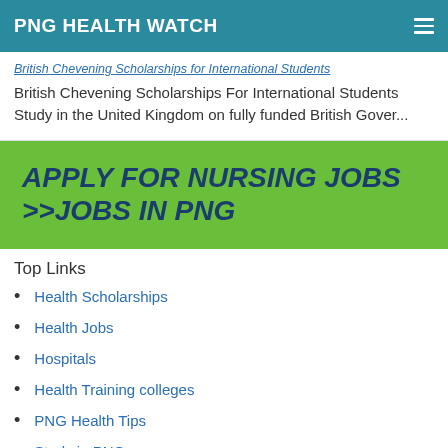PNG HEALTH WATCH
British Chevening Scholarships for International Students
British Chevening Scholarships For International Students Study in the United Kingdom on fully funded British Gover...
[Figure (infographic): Green banner with dark blue bold italic text: APPLY FOR NURSING JOBS >>Jobs in PNG]
Top Links
Health Scholarships
Health Jobs
Hospitals
Health Training colleges
PNG Health Tips
Study in PNG